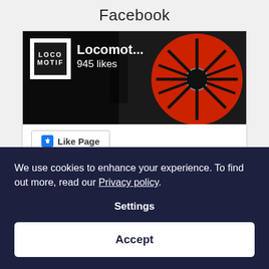Facebook
[Figure (screenshot): Facebook Like Page widget showing 'Locomot...' page with 945 likes and a locomotive wheel background image. Includes LOCO MOTIF logo and a Like Page button.]
Instagram
[Figure (photo): Instagram photo strip showing three partially visible images with people and machinery]
We use cookies to enhance your experience. To find out more, read our Privacy policy.
Settings
Accept